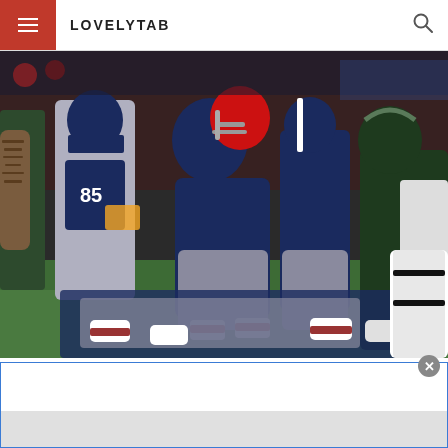LOVELYTAB
[Figure (photo): NFL football game action shot showing New England Patriots players (including player #85) in a pile-up/tackle against Philadelphia Eagles players on a grass field. Players wearing navy blue and gray uniforms scramble in a goal-line play.]
[Figure (other): Advertisement/popup box with blue border and a gray close button (X) in the top-right corner, with a gray bar at the bottom.]